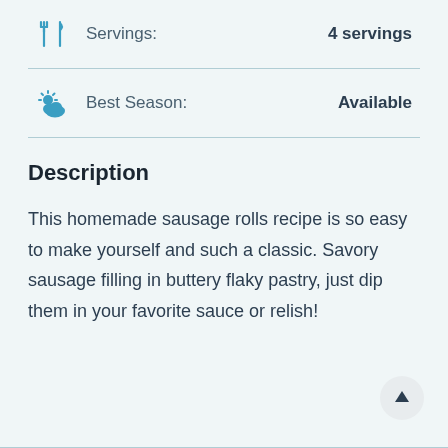Servings: 4 servings
Best Season: Available
Description
This homemade sausage rolls recipe is so easy to make yourself and such a classic. Savory sausage filling in buttery flaky pastry, just dip them in your favorite sauce or relish!